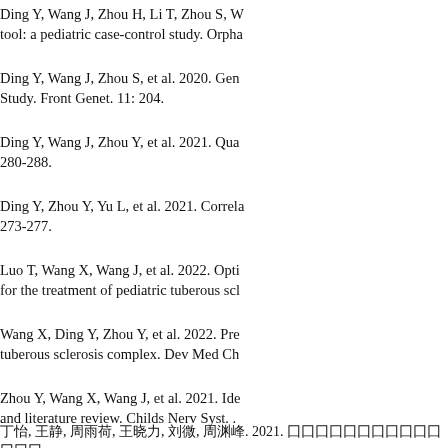Ding Y, Wang J, Zhou H, Li T, Zhou S, W... tool: a pediatric case-control study. Orpha...
Ding Y, Wang J, Zhou S, et al. 2020. Gen... Study. Front Genet. 11: 204.
Ding Y, Wang J, Zhou Y, et al. 2021. Qua... 280-288.
Ding Y, Zhou Y, Yu L, et al. 2021. Correla... 273-277.
Luo T, Wang X, Wang J, et al. 2022. Opti... for the treatment of pediatric tuberous scl...
Wang X, Ding Y, Zhou Y, et al. 2022. Pre... tuberous sclerosis complex. Dev Med Ch...
Zhou Y, Wang X, Wang J, et al. 2021. Ide... and literature review. Childs Nerv Syst. ...
丁怡, 王静, 周雨荷, 王晓力, 刘微, 周渊峰. 2021. ...
丁怡, 刘微, Ding Y, Wang J, Zhou S. 2020. ...